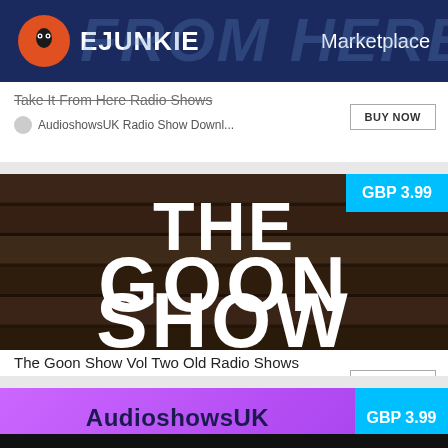EJUNKIE Marketplace
Take It From Here Radio Shows
AudioshowsUK Radio Show Downl...
[Figure (screenshot): The Goon Show Vol Two Old Radio Shows product image with dark wood background showing THE GOON SHOW text in white with GBP 3.99 price badge]
The Goon Show Vol Two Old Radio Shows
AudioshowsUK Radio Show Downl...
[Figure (screenshot): AudioshowsUK purple/pink banner with GBP 3.99 price badge in cyan blue]